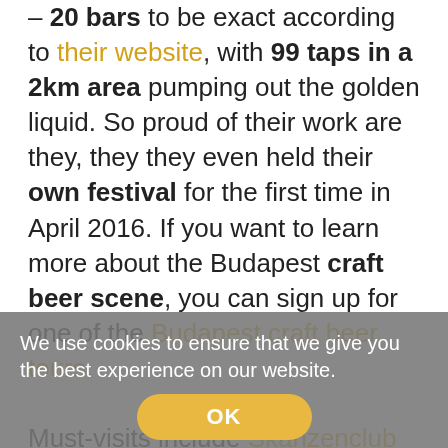– 20 bars to be exact according to their website, with 99 taps in a 2km area pumping out the golden liquid. So proud of their work are they, they they even held their own festival for the first time in April 2016. If you want to learn more about the Budapest craft beer scene, you can sign up for one of the Budapest craft beer tours.

Must-visits include Skanzenclub where you can legally smoke inside thanks to the fact that it's actually a private club where you tap your own beer and pay a 'suggested donation'. If Jazz Café
We use cookies to ensure that we give you the best experience on our website. OK